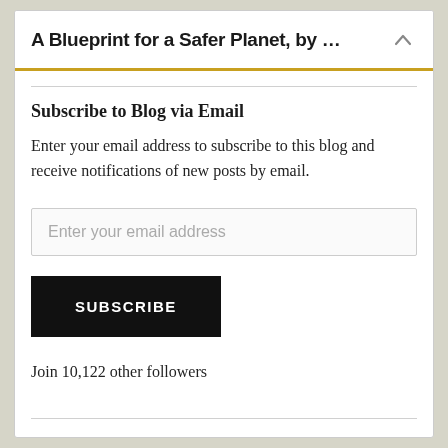A Blueprint for a Safer Planet, by ...
Subscribe to Blog via Email
Enter your email address to subscribe to this blog and receive notifications of new posts by email.
Join 10,122 other followers